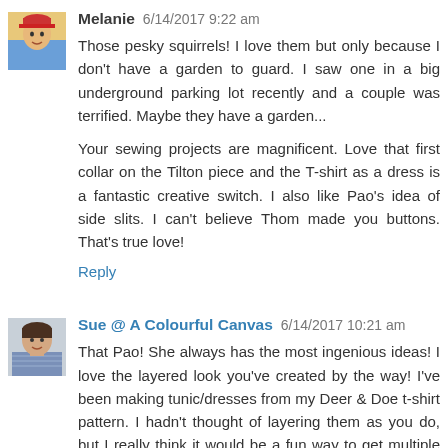Melanie 6/14/2017 9:22 am
Those pesky squirrels! I love them but only because I don't have a garden to guard. I saw one in a big underground parking lot recently and a couple was terrified. Maybe they have a garden...

Your sewing projects are magnificent. Love that first collar on the Tilton piece and the T-shirt as a dress is a fantastic creative switch. I also like Pao's idea of side slits. I can't believe Thom made you buttons. That's true love!
Reply
Sue @ A Colourful Canvas 6/14/2017 10:21 am
That Pao! She always has the most ingenious ideas! I love the layered look you've created by the way! I've been making tunic/dresses from my Deer & Doe t-shirt pattern. I hadn't thought of layering them as you do, but I really think it would be a fun way to get multiple colours on my bod!

Katherine and Marcy both have such a great design